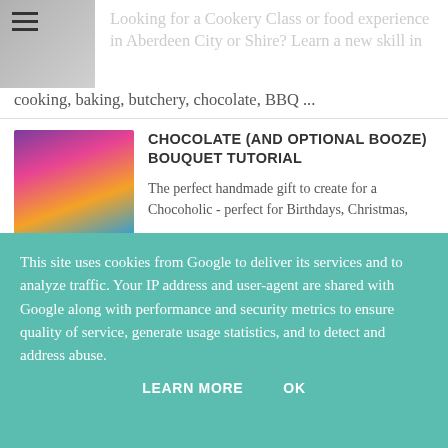Looking for a Cookery Class or food experience in Aberdeen City or Shire? Learn a new skill in cooking, baking, butchery, chocolate, BBQ ...
CHOCOLATE (AND OPTIONAL BOOZE) BOUQUET TUTORIAL
The perfect handmade gift to create for a Chocoholic - perfect for Birthdays, Christmas, Valentines, Anniversary, Mother's Day etc ...
This site uses cookies from Google to deliver its services and to analyze traffic. Your IP address and user-agent are shared with Google along with performance and security metrics to ensure quality of service, generate usage statistics, and to detect and address abuse.
LEARN MORE    OK